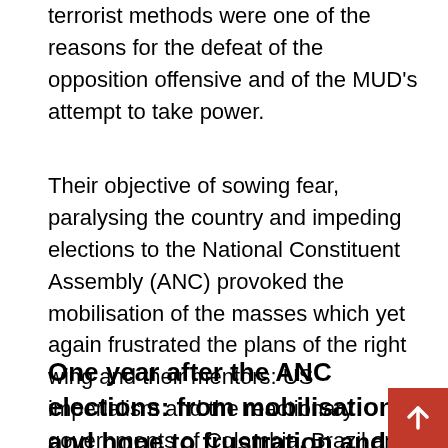terrorist methods were one of the reasons for the defeat of the opposition offensive and of the MUD's attempt to take power.
Their objective of sowing fear, paralysing the country and impeding elections to the National Constituent Assembly (ANC) provoked the mobilisation of the masses which yet again frustrated the plans of the right wing and their mentors: US imperialism and the reactionary governments of Colombia, Brazil and Argentina.
One year after the ANC elections: from mobilisation and hope to frustration and disenchantment